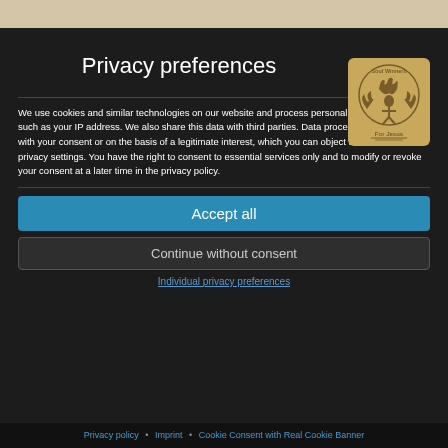[Figure (logo): Soul Winners For Jesus circular logo with golden/brown illustration of figures and flames]
Privacy preferences
We use cookies and similar technologies on our website and process personal data about you, such as your IP address. We also share this data with third parties. Data processing may be done with your consent or on the basis of a legitimate interest, which you can object to in the individual privacy settings. You have the right to consent to essential services only and to modify or revoke your consent at a later time in the privacy policy.
Accept all
Continue without consent
Individual privacy preferences
Privacy policy • Imprint • Cookie Consent with Real Cookie Banner